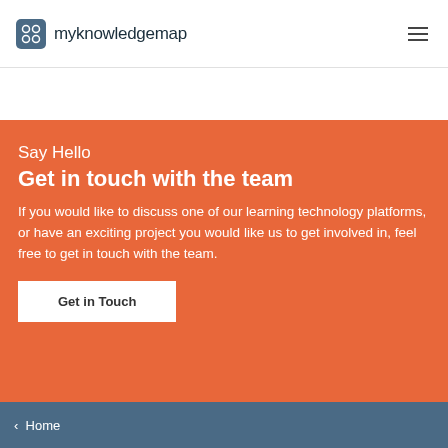myknowledgemap
Say Hello
Get in touch with the team
If you would like to discuss one of our learning technology platforms, or have an exciting project you would like us to get involved in, feel free to get in touch with the team.
Get in Touch
Home